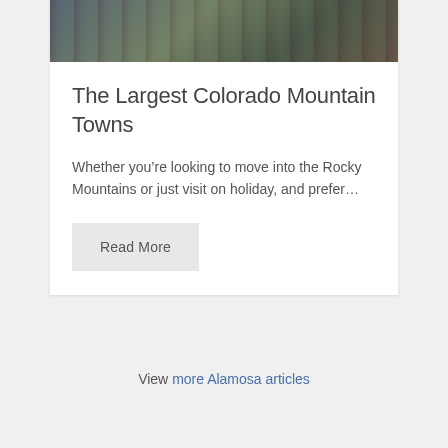[Figure (photo): Top portion of a street scene photo showing a Colorado mountain town with outdoor seating and storefronts]
The Largest Colorado Mountain Towns
Whether you're looking to move into the Rocky Mountains or just visit on holiday, and prefer...
Read More
View more Alamosa articles